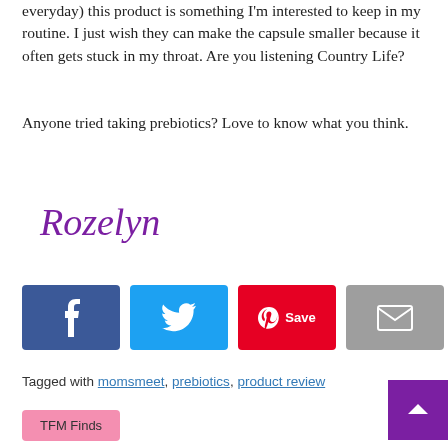everyday) this product is something I'm interested to keep in my routine. I just wish they can make the capsule smaller because it often gets stuck in my throat. Are you listening Country Life?
Anyone tried taking prebiotics? Love to know what you think.
[Figure (illustration): Rozelyn signature in purple cursive script]
[Figure (infographic): Social sharing buttons: Facebook, Twitter, Pinterest Save, and Email]
Tagged with momsmeet, prebiotics, product review
[Figure (other): Back to top button - purple square with upward chevron]
TFM Finds